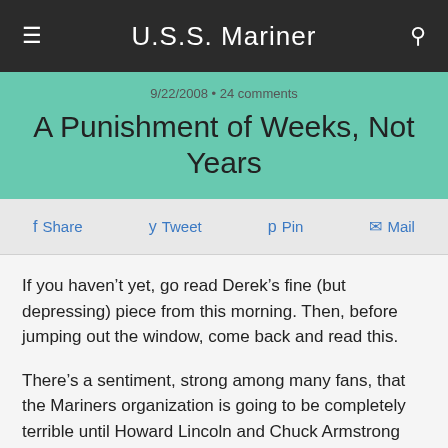U.S.S. Mariner
9/22/2008 • 24 comments
A Punishment of Weeks, Not Years
Share  Tweet  Pin  Mail
If you haven't yet, go read Derek's fine (but depressing) piece from this morning. Then, before jumping out the window, come back and read this.
There's a sentiment, strong among many fans, that the Mariners organization is going to be completely terrible until Howard Lincoln and Chuck Armstrong are no longer in charge. They have been at the helm while the ship has run aground, and despite the